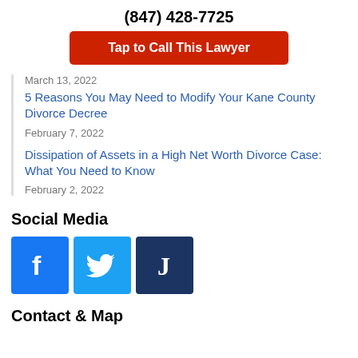(847) 428-7725
Tap to Call This Lawyer
March 13, 2022
5 Reasons You May Need to Modify Your Kane County Divorce Decree
February 7, 2022
Dissipation of Assets in a High Net Worth Divorce Case: What You Need to Know
February 2, 2022
Social Media
[Figure (logo): Facebook, Twitter, and Justia social media icon buttons]
Contact & Map